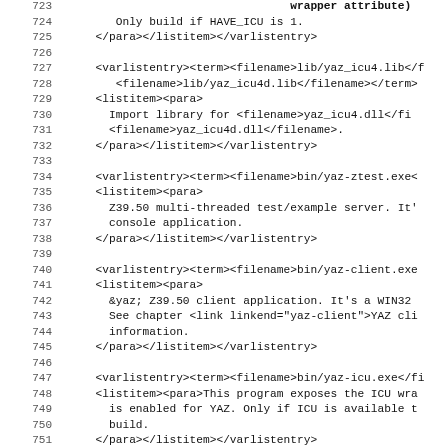Source code listing lines 723-755, XML documentation markup
723: (partial bold line - wrapper attribute)
724:     Only build if HAVE_ICU is 1.
725:   </para></listitem></varlistentry>
726: (blank)
727:   <varlistentry><term><filename>lib/yaz_icu4.lib</f
728:     <filename>lib/yaz_icu4d.lib</filename></term>
729:   <listitem><para>
730:     Import library for <filename>yaz_icu4.dll</fi
731:     <filename>yaz_icu4d.dll</filename>.
732:   </para></listitem></varlistentry>
733: (blank)
734:   <varlistentry><term><filename>bin/yaz-ztest.exe</
735:   <listitem><para>
736:     Z39.50 multi-threaded test/example server. It'
737:     console application.
738:   </para></listitem></varlistentry>
739: (blank)
740:   <varlistentry><term><filename>bin/yaz-client.exe
741:   <listitem><para>
742:     &yaz; Z39.50 client application. It's a WIN32
743:     See chapter <link linkend="yaz-client">YAZ cli
744:     information.
745:   </para></listitem></varlistentry>
746: (blank)
747:   <varlistentry><term><filename>bin/yaz-icu.exe</fi
748:   <listitem><para>This program exposes the ICU wra
749:     is enabled for YAZ. Only if ICU is available t
750:     build.
751:   </para></listitem></varlistentry>
752: (blank)
753:   <varlistentry><term><filename>bin/zoomsh.exe</fi
754:   <listitem><para>
755:     Simple console application implemented on top